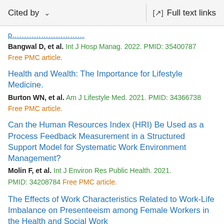Cited by    ∨    Full text links
Bangwal D, et al. Int J Hosp Manag. 2022. PMID: 35400787 Free PMC article.
Health and Wealth: The Importance for Lifestyle Medicine.
Burton WN, et al. Am J Lifestyle Med. 2021. PMID: 34366738 Free PMC article.
Can the Human Resources Index (HRI) Be Used as a Process Feedback Measurement in a Structured Support Model for Systematic Work Environment Management?
Molin F, et al. Int J Environ Res Public Health. 2021. PMID: 34208784 Free PMC article.
The Effects of Work Characteristics Related to Work-Life Imbalance on Presenteeism among Female Workers in the Health and Social Work